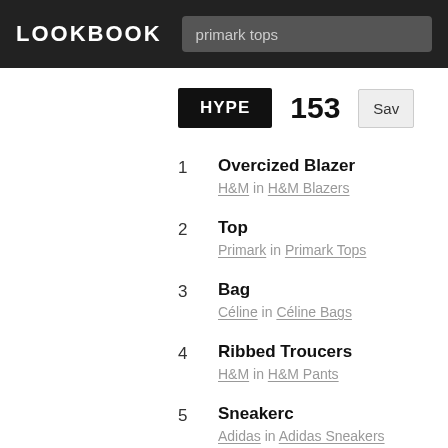LOOKBOOK
primark tops
HYPE 153 Save
1 Overcised Blazer
H&M in H&M Blazers
2 Top
Primark in Primark Tops
3 Bag
Céline in Céline Bags
4 Ribbed Trousers
H&M in H&M Pants
5 Sneakers
Adidas in Adidas Sneakers